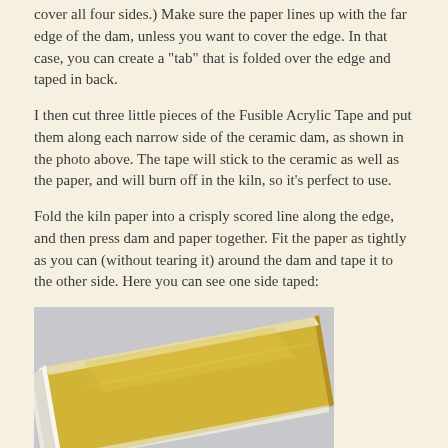cover all four sides.) Make sure the paper lines up with the far edge of the dam, unless you want to cover the edge. In that case, you can create a "tab" that is folded over the edge and taped in back.
I then cut three little pieces of the Fusible Acrylic Tape and put them along each narrow side of the ceramic dam, as shown in the photo above. The tape will stick to the ceramic as well as the paper, and will burn off in the kiln, so it's perfect to use.
Fold the kiln paper into a crisply scored line along the edge, and then press dam and paper together. Fit the paper as tightly as you can (without tearing it) around the dam and tape it to the other side. Here you can see one side taped:
[Figure (photo): Photo of a ceramic dam wrapped with kiln paper (white) on one side, showing the yellow/gold textured surface of the ceramic dam with white kiln paper taped along one long side, viewed at an angle on a light surface.]